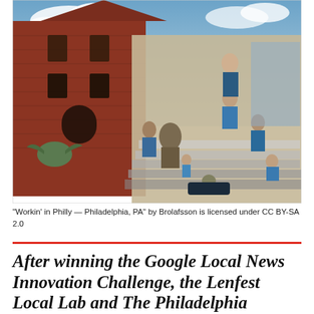[Figure (photo): Photograph of a large outdoor mural on the side of a red brick building in Philadelphia. The mural depicts community and work scenes with figures in blue shirts engaged in various activities on steps and around a central seated bronze statue. The background includes the brick building facade with arched windows.]
“Workin’ in Philly — Philadelphia, PA” by Brolafsson is licensed under CC BY-SA 2.0
After winning the Google Local News Innovation Challenge, the Lenfest Local Lab and The Philadelphia Inquirer will collaborate to test a new